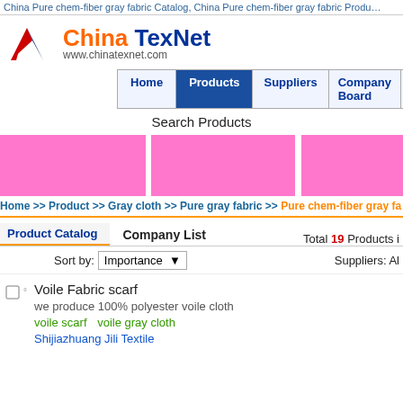China Pure chem-fiber gray fabric Catalog, China Pure chem-fiber gray fabric Products
[Figure (logo): China TexNet logo with stylized M/mountain icon and URL www.chinatexnet.com]
Home | Products | Suppliers | Company Board | Selling
Search Products
[Figure (illustration): Three pink/magenta banner advertisement blocks side by side]
Home >> Product >> Gray cloth >> Pure gray fabric >> Pure chem-fiber gray fa
Product Catalog   Company List   Total 19 Products
Sort by: Importance   Suppliers: All
Voile Fabric scarf
we produce 100% polyester voile cloth
voile scarf   voile gray cloth
Shijiazhuang Jili Textile